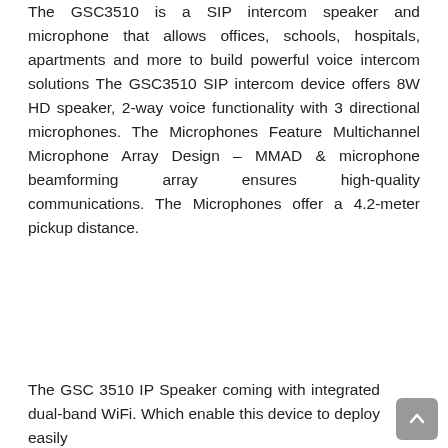The GSC3510 is a SIP intercom speaker and microphone that allows offices, schools, hospitals, apartments and more to build powerful voice intercom solutions. The GSC3510 SIP intercom device offers 8W HD speaker, 2-way voice functionality with 3 directional microphones. The Microphones Feature Multichannel Microphone Array Design – MMAD & microphone beamforming array ensures high-quality communications. The Microphones offer a 4.2-meter pickup distance.
The GSC 3510 IP Speaker coming with integrated dual-band WiFi. Which enable this device to deploy easily